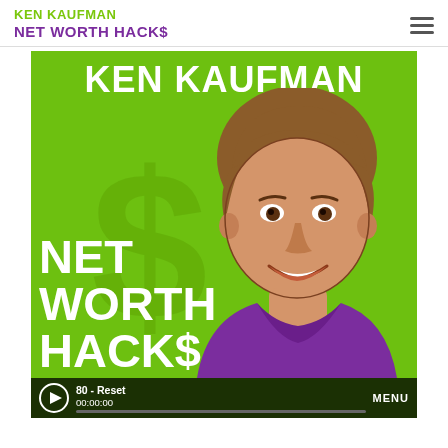KEN KAUFMAN NET WORTH HACK$
[Figure (illustration): Ken Kaufman Net Worth Hacks podcast cover art: bright green background with a cartoon illustration of a smiling man with brown hair wearing a purple shirt. Large white bold text reads 'KEN KAUFMAN' at the top and 'NET WORTH HACKS' at the bottom left. A faint dollar sign watermark is visible in the background. An audio player bar at the bottom shows a play button, episode title '80 - Reset', timestamp '00:00:00', a progress bar, and a MENU button.]